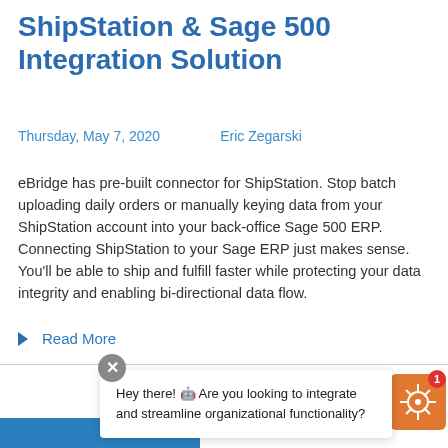ShipStation & Sage 500 Integration Solution
Thursday, May 7, 2020    Eric Zegarski
eBridge has pre-built connector for ShipStation. Stop batch uploading daily orders or manually keying data from your ShipStation account into your back-office Sage 500 ERP. Connecting ShipStation to your Sage ERP just makes sense. You'll be able to ship and fulfill faster while protecting your data integrity and enabling bi-directional data flow.
Read More
Hey there! 🤖 Are you looking to integrate and streamline organizational functionality?